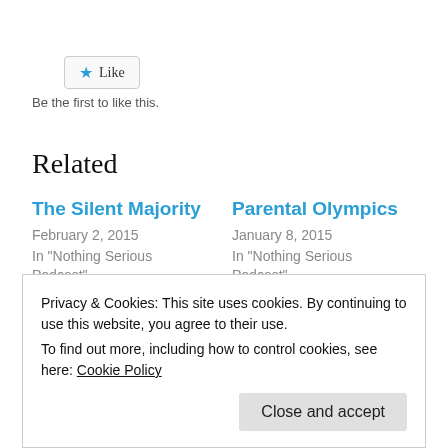[Figure (other): Like button with star icon and 'Like' text inside a rounded rectangle button]
Be the first to like this.
Related
The Silent Majority
February 2, 2015
In "Nothing Serious Podcast"
Parental Olympics
January 8, 2015
In "Nothing Serious Podcast"
Laser Beams And
Privacy & Cookies: This site uses cookies. By continuing to use this website, you agree to their use.
To find out more, including how to control cookies, see here: Cookie Policy
Close and accept